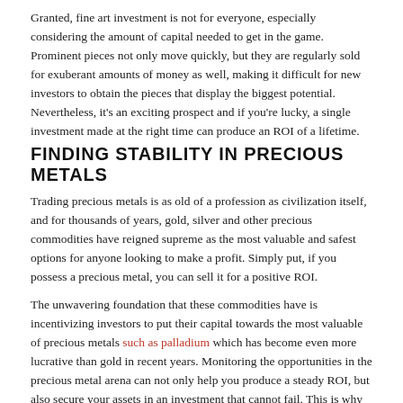Granted, fine art investment is not for everyone, especially considering the amount of capital needed to get in the game. Prominent pieces not only move quickly, but they are regularly sold for exuberant amounts of money as well, making it difficult for new investors to obtain the pieces that display the biggest potential. Nevertheless, it's an exciting prospect and if you're lucky, a single investment made at the right time can produce an ROI of a lifetime.
FINDING STABILITY IN PRECIOUS METALS
Trading precious metals is as old of a profession as civilization itself, and for thousands of years, gold, silver and other precious commodities have reigned supreme as the most valuable and safest options for anyone looking to make a profit. Simply put, if you possess a precious metal, you can sell it for a positive ROI.
The unwavering foundation that these commodities have is incentivizing investors to put their capital towards the most valuable of precious metals such as palladium which has become even more lucrative than gold in recent years. Monitoring the opportunities in the precious metal arena can not only help you produce a steady ROI, but also secure your assets in an investment that cannot fail. This is why cryptocurrency investors, for example, are increasingly transferring their assets into the gold, silver, and platinum realm.
DIVERSIFYING WITH REAL ESTATE